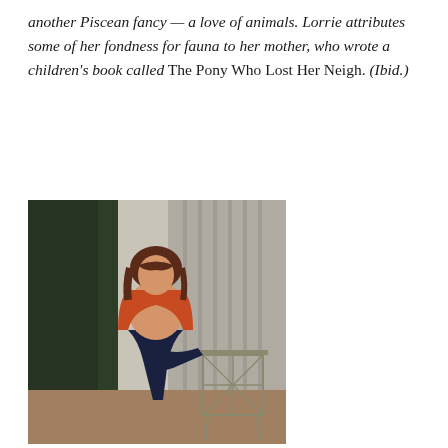another Piscean fancy — a love of animals. Lorrie attributes some of her fondness for fauna to her mother, who wrote a children's book called The Pony Who Lost Her Neigh. (Ibid.)
[Figure (photo): A woman with dark hair posing outdoors on a patio, wearing an open red/orange knit cardigan and dark trousers, seated on a wire chair with greenery in the background.]